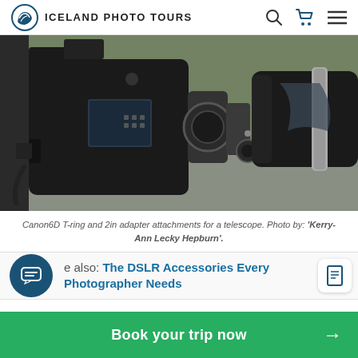ICELAND PHOTO TOURS
[Figure (photo): Canon 6D DSLR camera connected via T-ring and 2in adapter attachments to a telescope, photographed outdoors]
Canon6D T-ring and 2in adapter attachments for a telescope. Photo by: 'Kerry-Ann Lecky Hepburn'.
See also: The DSLR Accessories Every Photographer Needs
Book your trip now